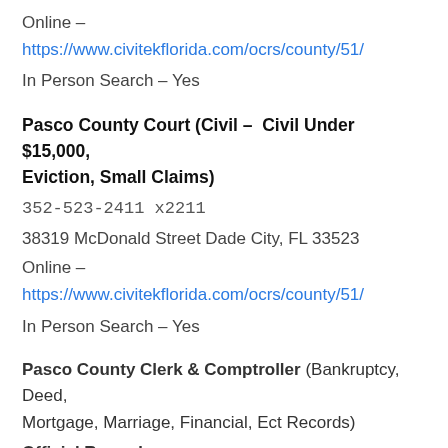Online –
https://www.civitekflorida.com/ocrs/county/51/
In Person Search – Yes
Pasco County Court (Civil – Civil Under $15,000, Eviction, Small Claims)
352-523-2411 x2211
38319 McDonald Street Dade City, FL 33523
Online –
https://www.civitekflorida.com/ocrs/county/51/
In Person Search – Yes
Pasco County Clerk & Comptroller (Bankruptcy, Deed, Mortgage, Marriage, Financial, Ect Records)
Official Records – https://app.pascoclerk.com/appdot-